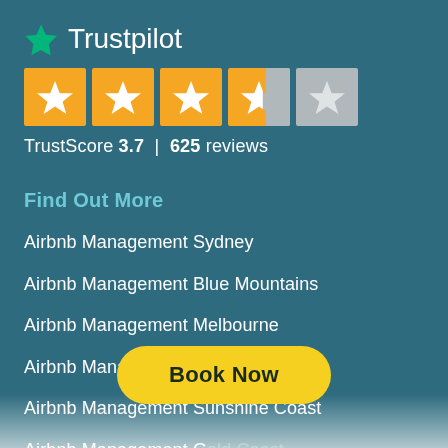[Figure (logo): Trustpilot logo with green star and white wordmark 'Trustpilot']
[Figure (other): 5-star rating display: 3 full yellow stars, 1 partial yellow star (~60% filled), 1 grey empty star]
TrustScore 3.7 | 625 reviews
Find Out More
Airbnb Management Sydney
Airbnb Management Blue Mountains
Airbnb Management Melbourne
Airbnb Management Brisbane
Airbnb Management Sunshine Coast
Airbnb Management G[old Coast]
Airbnb Management Canberra
[Figure (other): Yellow rounded button with text 'Book Now' in dark bold font]